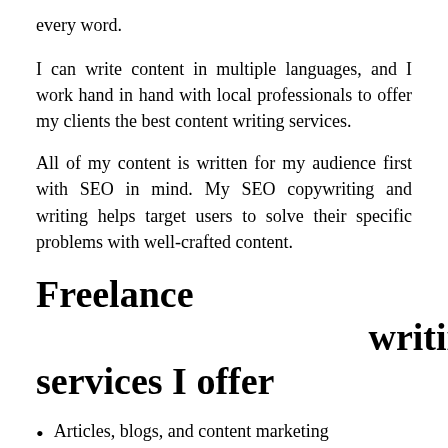every word.
I can write content in multiple languages, and I work hand in hand with local professionals to offer my clients the best content writing services.
All of my content is written for my audience first with SEO in mind. My SEO copywriting and writing helps target users to solve their specific problems with well-crafted content.
Freelance writing services I offer
Articles, blogs, and content marketing
Websites, emails, and copywriting
Guides, knowledge bases, and tutorials
Idea generation, concepts, and outlining